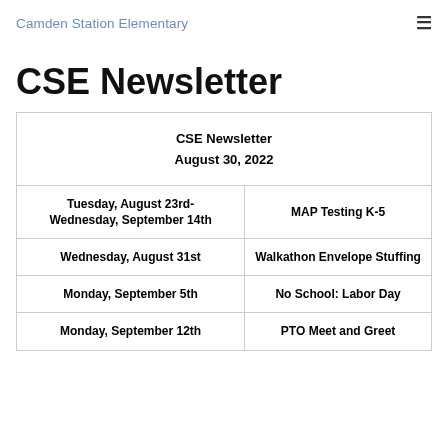Camden Station Elementary
CSE Newsletter
| CSE Newsletter
August 30, 2022 |
| --- |
| Tuesday, August 23rd-
Wednesday, September 14th | MAP Testing K-5 |
| Wednesday, August 31st | Walkathon Envelope Stuffing |
| Monday, September 5th | No School: Labor Day |
| Monday, September 12th | PTO Meet and Greet |